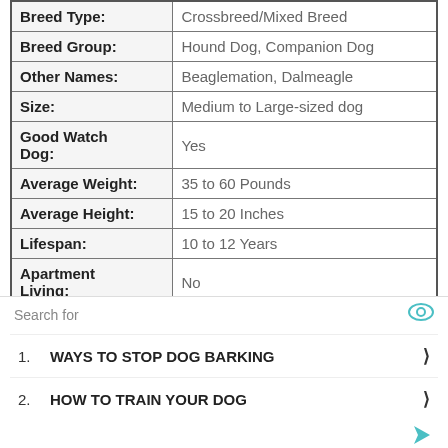| Attribute | Value |
| --- | --- |
| Breed Type: | Crossbreed/Mixed Breed |
| Breed Group: | Hound Dog, Companion Dog |
| Other Names: | Beaglemation, Dalmeagle |
| Size: | Medium to Large-sized dog |
| Good Watch Dog: | Yes |
| Average Weight: | 35 to 60 Pounds |
| Average Height: | 15 to 20 Inches |
| Lifespan: | 10 to 12 Years |
| Apartment Living: | No |
|  | Active Owners, Families with |
Search for
1. WAYS TO STOP DOG BARKING ❯
2. HOW TO TRAIN YOUR DOG ❯